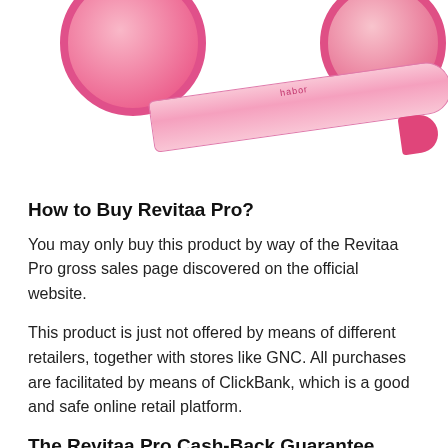[Figure (photo): Product photo showing pink supplement containers and a pink measuring tape on white background]
How to Buy Revitaa Pro?
You may only buy this product by way of the Revitaa Pro gross sales page discovered on the official website.
This product is just not offered by means of different retailers, together with stores like GNC. All purchases are facilitated by means of ClickBank, which is a good and safe online retail platform.
The Revitaa Pro Cash-Back Guarantee